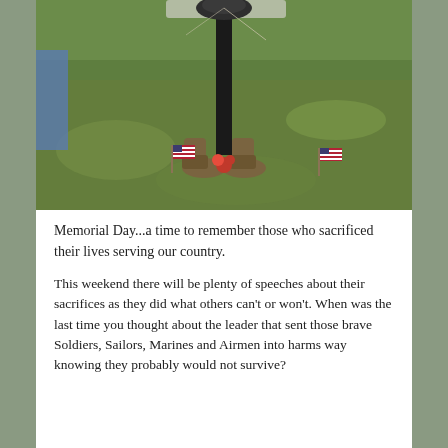[Figure (photo): Outdoor memorial scene on grass showing military combat boots placed at the base of a dark pole/rifle, with small American flags on either side and red flowers between the boots — a battlefield cross or soldier's cross tribute.]
Memorial Day...a time to remember those who sacrificed their lives serving our country.
This weekend there will be plenty of speeches about their sacrifices as they did what others can't or won't. When was the last time you thought about the leader that sent those brave Soldiers, Sailors, Marines and Airmen into harms way knowing they probably would not survive?